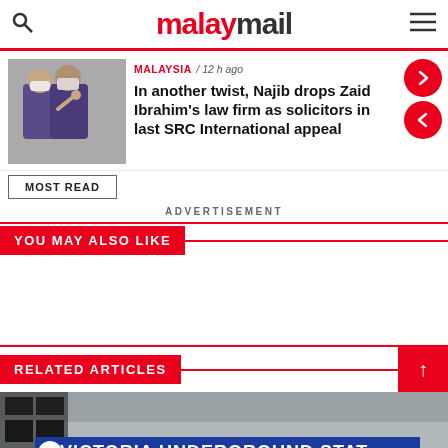malaymail
MALAYSIA / 12 h ago
In another twist, Najib drops Zaid Ibrahim's law firm as solicitors in last SRC International appeal
MOST READ
ADVERTISEMENT
YOU MAY ALSO LIKE
RELATED ARTICLES
[Figure (photo): Victoria Underground Station sign on a building facade]